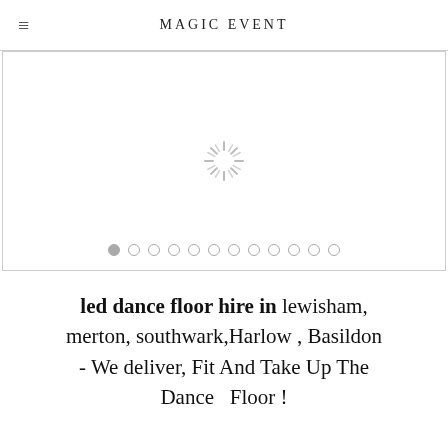MAGIC EVENT
[Figure (other): Slideshow image placeholder with a loading spinner icon and pagination dots at the bottom]
led dance floor hire in lewisham, merton, southwark,Harlow , Basildon - We deliver, Fit And Take Up The Dance Floor !